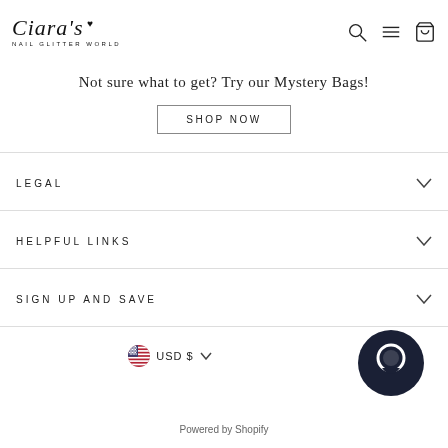Ciara's NAIL GLITTER WORLD
Not sure what to get? Try our Mystery Bags!
SHOP NOW
LEGAL
HELPFUL LINKS
SIGN UP AND SAVE
USD $
Powered by Shopify